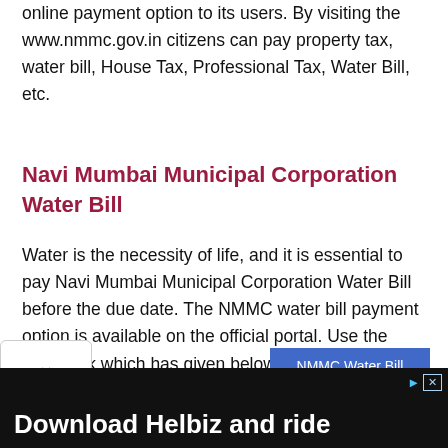online payment option to its users. By visiting the www.nmmc.gov.in citizens can pay property tax, water bill, House Tax, Professional Tax, Water Bill, etc.
Navi Mumbai Municipal Corporation Water Bill
Water is the necessity of life, and it is essential to pay Navi Mumbai Municipal Corporation Water Bill before the due date. The NMMC water bill payment option is available on the official portal. Use the direct link which has given below to pay your due Water Tax online.
[Figure (other): Blue button labeled 'NMMC Water Bill']
[Figure (photo): Advertisement banner: 'Download Helbiz and ride' with person on vehicle in background, with ad close button]